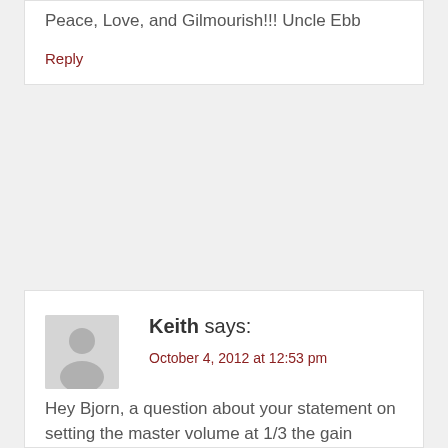Peace, Love, and Gilmourish!!! Uncle Ebb
Reply
Keith says:
October 4, 2012 at 12:53 pm
Hey Bjorn, a question about your statement on setting the master volume at 1/3 the gain volume. Obviously when I play through the TSA15H, I don't have that option,